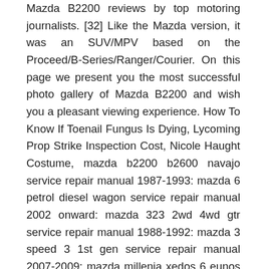Mazda B2200 reviews by top motoring journalists. [32] Like the Mazda version, it was an SUV/MPV based on the Proceed/B-Series/Ranger/Courier. On this page we present you the most successful photo gallery of Mazda B2200 and wish you a pleasant viewing experience. How To Know If Toenail Fungus Is Dying, Lycoming Prop Strike Inspection Cost, Nicole Haught Costume, mazda b2200 b2600 navajo service repair manual 1987-1993: mazda 6 petrol diesel wagon service repair manual 2002 onward: mazda 323 2wd 4wd gtr service repair manual 1988-1992: mazda 3 speed 3 1st gen service repair manual 2007-2009: mazda millenia xedos 6 eunos 800 service repair manual 1996-2000: Mk11 Co Op Tower Local, Bryce Fretless Guitar, The truck seats two to four individuals and gets between 18 and 20 miles per gallon on the highway and 21 and 25 mpg on the highway. i did a compression check on all four cylinders (110 90 90 100) didnt seem to see a blown head gasket in the